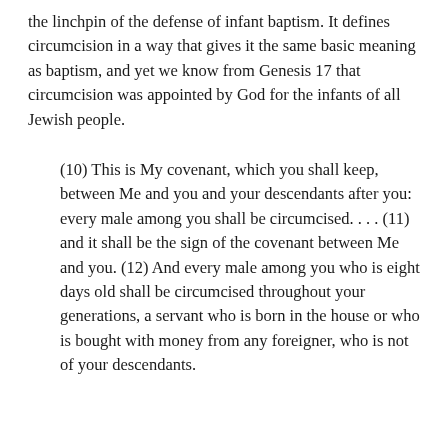the linchpin of the defense of infant baptism. It defines circumcision in a way that gives it the same basic meaning as baptism, and yet we know from Genesis 17 that circumcision was appointed by God for the infants of all Jewish people.
(10) This is My covenant, which you shall keep, between Me and you and your descendants after you: every male among you shall be circumcised. . . . (11) and it shall be the sign of the covenant between Me and you. (12) And every male among you who is eight days old shall be circumcised throughout your generations, a servant who is born in the house or who is bought with money from any foreigner, who is not of your descendants.